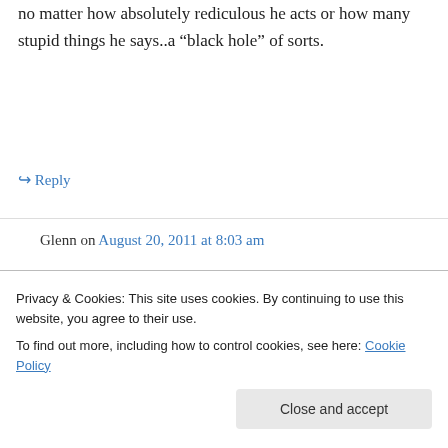no matter how absolutely rediculous he acts or how many stupid things he says..a “black hole” of sorts.
↳ Reply
Glenn on August 20, 2011 at 8:03 am
Add international intrigue on top of financial shenanigans. Some news claims there is a Venezuelan plane in Djerba, Tunisia standing by evacuation of Qaddafi family to Venezuela. It
Privacy & Cookies: This site uses cookies. By continuing to use this website, you agree to their use.
To find out more, including how to control cookies, see here: Cookie Policy